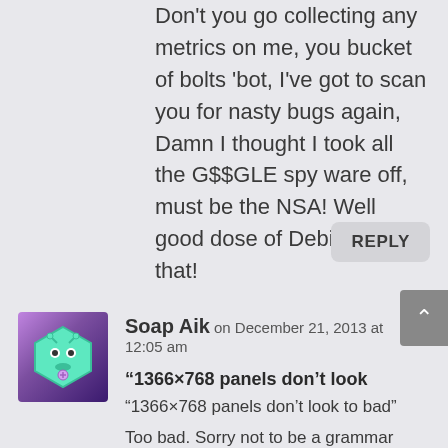Don't you go collecting any metrics on me, you bucket of bolts 'bot, I've got to scan you for nasty bugs again, Damn I thought I took all the G$$GLE spy ware off, must be the NSA! Well good dose of Debian will fix that!
REPLY
Soap Aik on December 21, 2013 at 12:05 am
“1366×768 panels don’t look
“1366×768 panels don’t look to bad”
Too bad. Sorry not to be a grammar